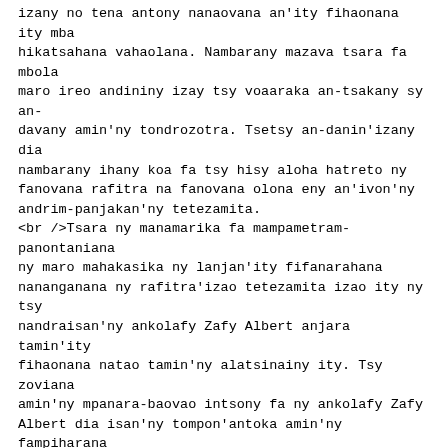izany no tena antony nanaovana an'ity fihaonana ity mba hikatsahana vahaolana. Nambarany mazava tsara fa mbola maro ireo andininy izay tsy voaaraka an-tsakany sy an-davany amin'ny tondrozotra. Tsetsy an-danin'izany dia nambarany ihany koa fa tsy hisy aloha hatreto ny fanovana rafitra na fanovana olona eny an'ivon'ny andrim-panjakan'ny tetezamita.
<br />Tsara ny manamarika fa mampametram-panontaniana ny maro mahakasika ny lanjan'ity fifanarahana nananganana ny rafitra'izao tetezamita izao ity ny tsy nandraisan'ny ankolafy Zafy Albert anjara tamin'ity fihaonana natao tamin'ny alatsinainy ity. Tsy zoviana amin'ny mpanara-baovao intsony fa ny ankolafy Zafy Albert dia isan'ny tompon'antoka amin'ny fampiharana an'izany tondrozotra izany noho izy ireo isan'ny nanao Sonia an'izany. Etsy an-danin'zany dia ny Ankoalfy zafy Albert ihany koa no nanolotra ny Praiminisitra Omer Beriziky izay lehiben'ny Governemanta natao hanatenteraka antsakany sy andavany an'izany tondrozotra izany.
<br />Marihina fa tsy azon'ny mpanao gazety natrehina ny ady hevitra nandritra izany fihaonan'ireo mpanao Sonia ny tondrozotra izany ny alatsinainy teo. Tsy misy afa-tsy ny fiandrasana ny famoahan'izy ireo izay fanampahan-kevitra noraisina miaraka tamin'izany fivoriana izany no ahafahana mahafantatra ny tena fizotran'ny ady hevitra. Ny tena andrasan'ny maro avy amin'izany anefa dia ny hevitra'ireo mpanao Sonia ny sori-d&agrave;lana mikasika ny fahafaha-milatsaka ho fidina ho an'ny Filohan'ny tetezamita sy ny Filoha teo